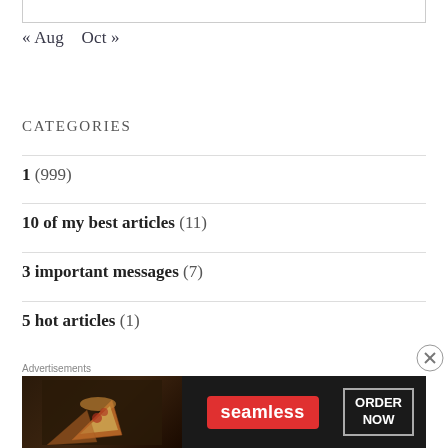« Aug   Oct »
CATEGORIES
1 (999)
10 of my best articles (11)
3 important messages (7)
5 hot articles (1)
Advertisements
[Figure (other): Seamless food delivery advertisement banner showing pizza and 'ORDER NOW' button]